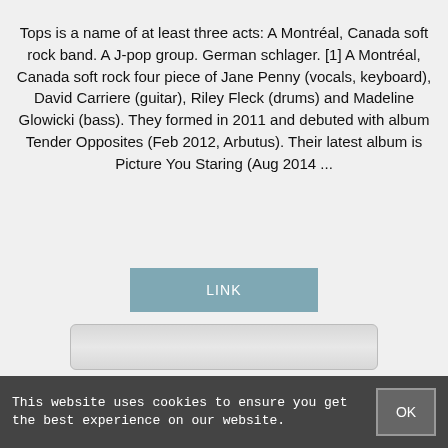Tops is a name of at least three acts: A Montréal, Canada soft rock band. A J-pop group. German schlager. [1] A Montréal, Canada soft rock four piece of Jane Penny (vocals, keyboard), David Carriere (guitar), Riley Fleck (drums) and Madeline Glowicki (bass). They formed in 2011 and debuted with album Tender Opposites (Feb 2012, Arbutus). Their latest album is Picture You Staring (Aug 2014 ...
[Figure (screenshot): A teal/blue button labeled LINK]
[Figure (screenshot): A gray input bar/text field]
[Figure (screenshot): A dark blue-gray button labeled PREVIEW]
This website uses cookies to ensure you get the best experience on our website.